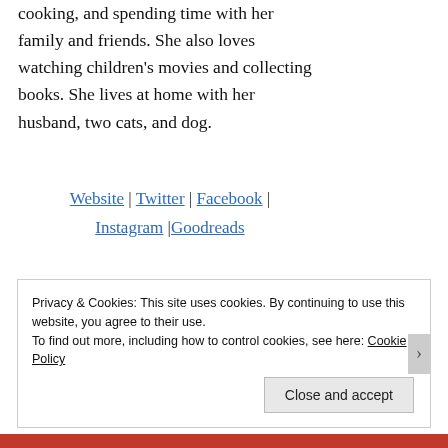cooking, and spending time with her family and friends. She also loves watching children's movies and collecting books. She lives at home with her husband, two cats, and dog.
Website | Twitter | Facebook | Instagram |Goodreads
Privacy & Cookies: This site uses cookies. By continuing to use this website, you agree to their use.
To find out more, including how to control cookies, see here: Cookie Policy
Close and accept